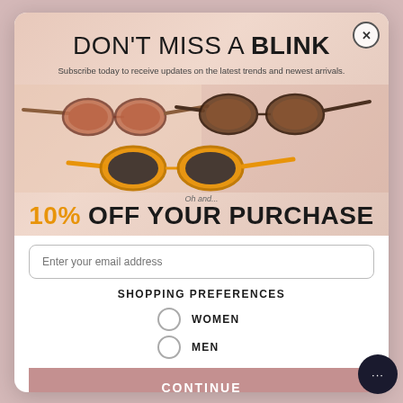[Figure (screenshot): Email subscription popup modal for an eyewear/sunglasses brand. Top half shows a photo of three pairs of sunglasses (tortoiseshell, dark, and orange frames) on a pink/beige background with headline 'DON'T MISS A BLINK' and subtext about subscribing. Bottom shows 10% off offer, email input, shopping preferences (Women/Men radio buttons), and a Continue button.]
DON'T MISS A BLINK
Subscribe today to receive updates on the latest trends and newest arrivals.
Oh and...
10% OFF YOUR PURCHASE
Enter your email address
SHOPPING PREFERENCES
WOMEN
MEN
CONTINUE